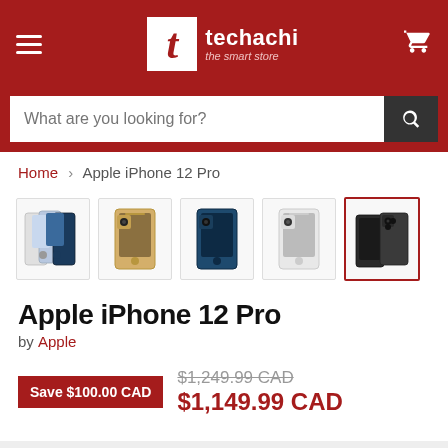[Figure (logo): Techachi logo with red background, white T in a box, techachi text and 'the smart store' tagline]
[Figure (screenshot): Search bar with placeholder 'What are you looking for?' and dark search button]
Home > Apple iPhone 12 Pro
[Figure (photo): 5 product thumbnail images of Apple iPhone 12 Pro in various colors, last one selected with red border]
Apple iPhone 12 Pro
by Apple
Save $100.00 CAD  $1,249.99 CAD  $1,149.99 CAD